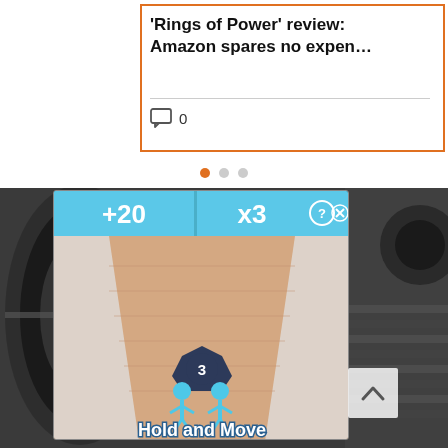'Rings of Power' review: Amazon spares no expen…
0
[Figure (screenshot): Carousel dot indicators showing first of three slides selected (orange dot, two grey dots)]
[Figure (screenshot): Mobile game screenshot showing a bowling alley style game with '+20' and 'x3' score indicators at top, two blue stick figures with '3' badge, and text 'Hold and Move' at the bottom. Background shows a sandy lane with white side rails and blue sky.]
[Figure (photo): Background photo of mechanical reels or vinyl records in black and white]